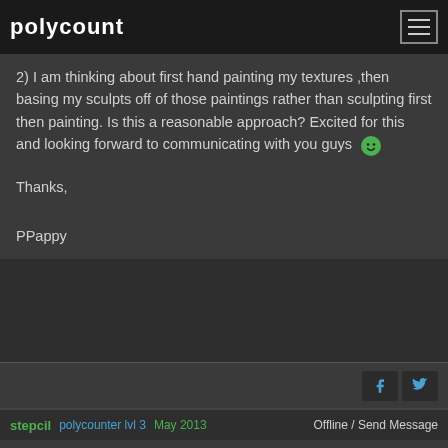polycount
2) I am thinking about first hand painting my textures ,then basing my sculpts off of those paintings rather than sculpting first then painting. Is this a reasonable approach? Excited for this and looking forward to communicating with you guys 🙂
Thanks,

PPappy
stepcil   polycounter lvl 3   May 2013   Offline / Send Message
Hi all,
This is my first challenge i will do my best. ^ ^